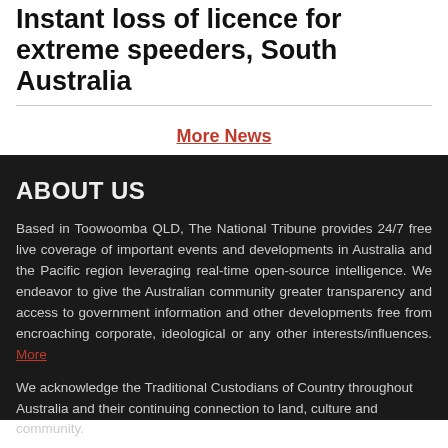Instant loss of licence for extreme speeders, South Australia
More News
ABOUT US
Based in Toowoomba QLD, The National Tribune provides 24/7 free live coverage of important events and developments in Australia and the Pacific region leveraging real-time open-source intelligence. We endeavor to give the Australian community greater transparency and access to government information and other developments free from encroaching corporate, ideological or any other interests/influences. More
We acknowledge the Traditional Custodians of Country throughout Australia and their continuing connection to land, culture and community.